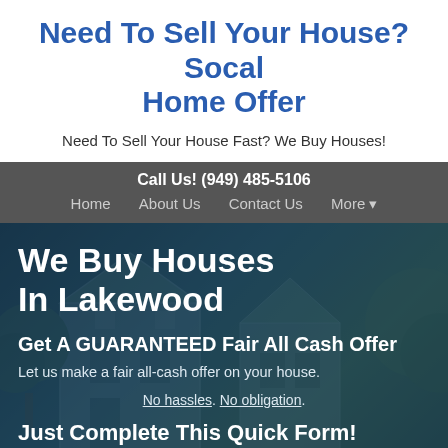Need To Sell Your House? Socal Home Offer
Need To Sell Your House Fast? We Buy Houses!
Call Us! (949) 485-5106
Home   About Us   Contact Us   More ▾
We Buy Houses In Lakewood
Get A GUARANTEED Fair All Cash Offer
Let us make a fair all-cash offer on your house.
No hassles. No obligation.
Just Complete This Quick Form!